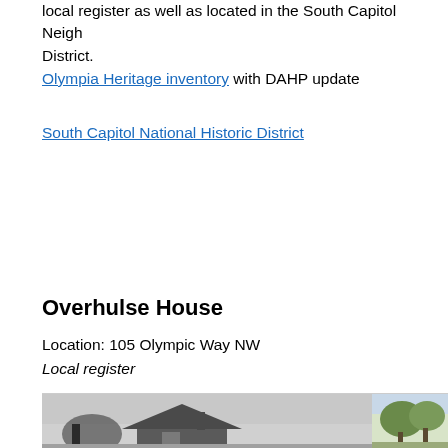local register as well as located in the South Capitol Neighborhood Historic District.
Olympia Heritage inventory with DAHP update
South Capitol National Historic District
Overhulse House
Location: 105 Olympic Way NW
Local register
[Figure (photo): Black and white photograph of the Overhulse House showing a historic house structure, partially visible with trees on the right side]